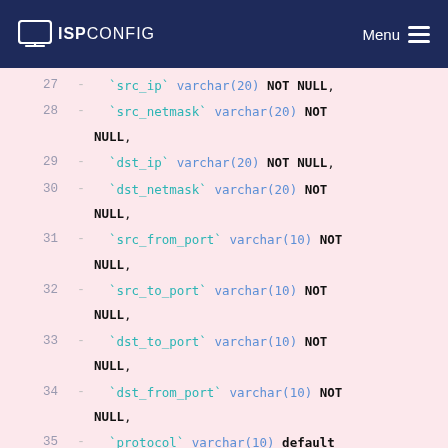ISPConfig | Menu
27  -   `src_ip` varchar(20) NOT NULL,
28  -   `src_netmask` varchar(20) NOT NULL,
29  -   `dst_ip` varchar(20) NOT NULL,
30  -   `dst_netmask` varchar(20) NOT NULL,
31  -   `src_from_port` varchar(10) NOT NULL,
32  -   `src_to_port` varchar(10) NOT NULL,
33  -   `dst_to_port` varchar(10) NOT NULL,
34  -   `dst_from_port` varchar(10) NOT NULL,
35  -   `protocol` varchar(10) default 'tcp',
36  -   `inbound_policy` enum('allow','deny','reject','limit') default 'allow',
37  -   `outbound_policy`